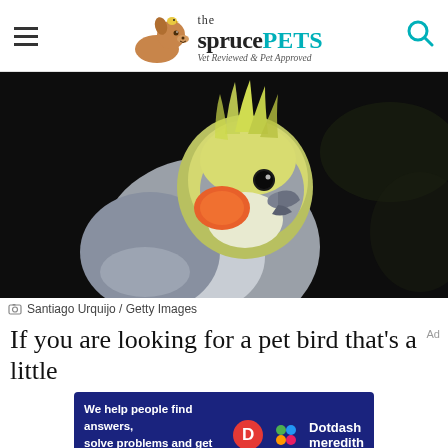the spruce PETS — Vet Reviewed & Pet Approved
[Figure (photo): Close-up photo of a cockatiel bird with grey feathers, yellow and green crest, orange cheek patch, and dark eye, against a dark background]
Santiago Urquijo / Getty Images
If you are looking for a pet bird that's a little
[Figure (infographic): Dotdash Meredith advertisement banner: 'We help people find answers, solve problems and get inspired.' with Dotdash Meredith logo]